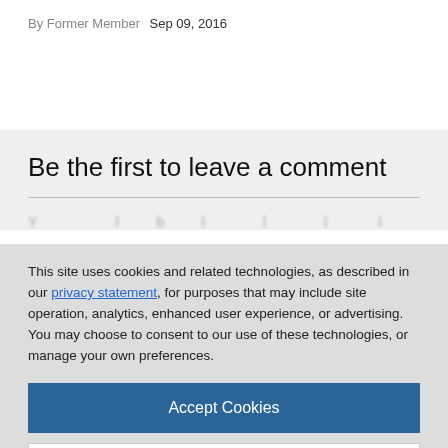By Former Member   Sep 09, 2016
Be the first to leave a comment
This site uses cookies and related technologies, as described in our privacy statement, for purposes that may include site operation, analytics, enhanced user experience, or advertising. You may choose to consent to our use of these technologies, or manage your own preferences.
Accept Cookies
More Information
Privacy Policy | Powered by: TrustArc
Privacy   Terms of Use